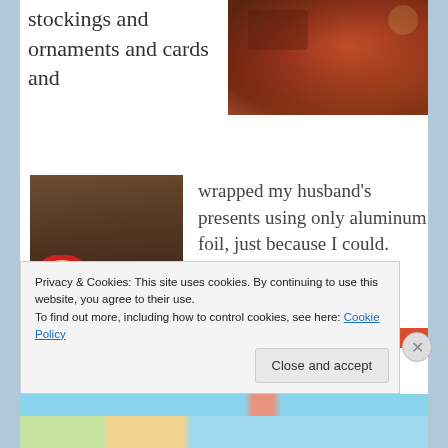stockings and ornaments and cards and
[Figure (photo): Photo of a patterned red rug or fabric on a table]
[Figure (photo): Person working on a craft project at a table with a red knitted Santa Claus figure in the foreground]
wrapped my husband's presents using only aluminum foil, just because I could. Every night, there was a different project.
Privacy & Cookies: This site uses cookies. By continuing to use this website, you agree to their use. To find out more, including how to control cookies, see here: Cookie Policy